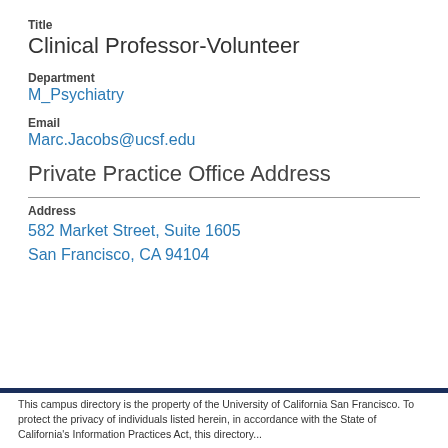Title
Clinical Professor-Volunteer
Department
M_Psychiatry
Email
Marc.Jacobs@ucsf.edu
Private Practice Office Address
Address
582 Market Street, Suite 1605
San Francisco, CA 94104
This campus directory is the property of the University of California San Francisco. To protect the privacy of individuals listed herein, in accordance with the State of California's Information Practices Act, this directory...